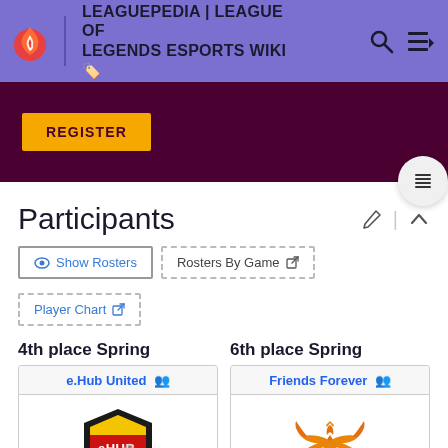LEAGUEPEDIA | LEAGUE OF LEGENDS ESPORTS WIKI
REGISTER
Participants
Show Rosters
Rosters By Game
Player Chart
4th place Spring
e.Hub United
6th place Spring
Friends Forever
[Figure (logo): e.Hub United team logo: shield shape with eHUB UNITED text, red/black/gold colors]
[Figure (logo): Friends Forever team logo: orange stylized FF bird/wings emblem]